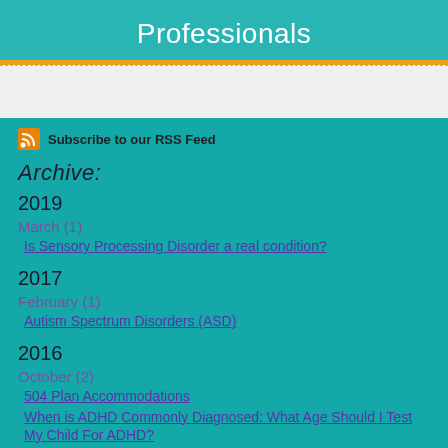Professionals
Subscribe to our RSS Feed
Archive:
2019
March (1)
Is Sensory Processing Disorder a real condition?
2017
February (1)
Autism Spectrum Disorders (ASD)
2016
October (2)
504 Plan Accommodations
When is ADHD Commonly Diagnosed: What Age Should I Test My Child For ADHD?
August (1)